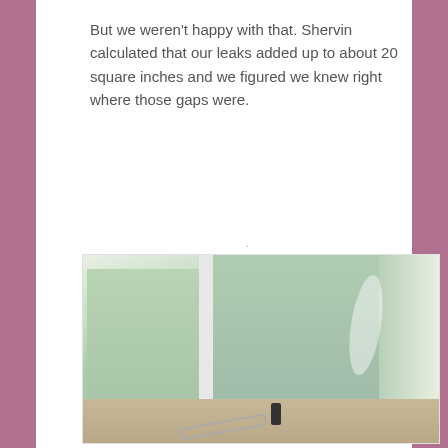But we weren't happy with that. Shervin calculated that our leaks added up to about 20 square inches and we figured we knew right where those gaps were.
[Figure (photo): Interior photo of a bathroom/shower under renovation showing green drywall (cement board) on the walls with tape and compound seams, shower valves/fixtures roughed in on the back wall, tile floor visible at the bottom, a black pipe stub, and a white hose on the floor. A small window is visible at the top left.]